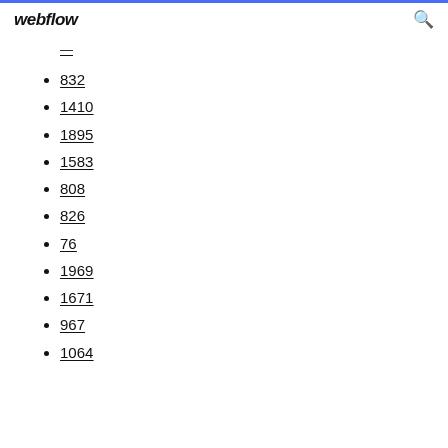webflow
832
1410
1895
1583
808
826
76
1969
1671
967
1064